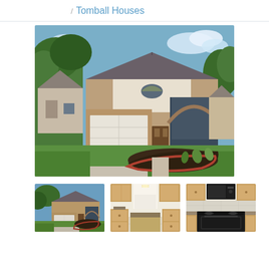/ Tomball Houses
[Figure (photo): Exterior front view of a two-story brick house with arched window above garage, two-car garage with white door, green lawn, and landscaped flower bed with red brick border. Trees visible in background.]
[Figure (photo): Thumbnail: Front exterior of the same two-story brick house with arched window and green lawn.]
[Figure (photo): Thumbnail: Interior kitchen view with wood cabinetry, granite countertops, arched doorways leading to dining area, tile flooring.]
[Figure (photo): Thumbnail: Kitchen close-up with black microwave, black range/oven, wood cabinetry, and granite countertops.]